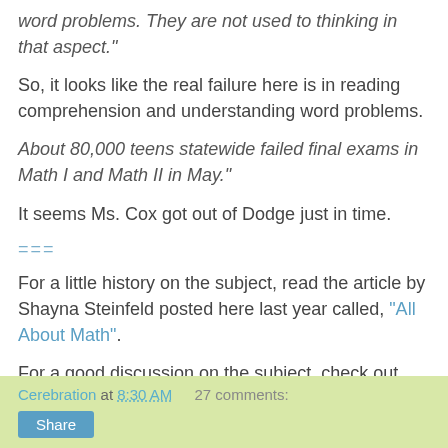word problems. They are not used to thinking in that aspect."
So, it looks like the real failure here is in reading comprehension and understanding word problems.
About 80,000 teens statewide failed final exams in Math I and Math II in May."
It seems Ms. Cox got out of Dodge just in time.
===
For a little history on the subject, read the article by Shayna Steinfeld posted here last year called, "All About Math".
For a good discussion on the subject, check out Maureen Downey's blog.
Cerebration at 8:30 AM   27 comments:   Share